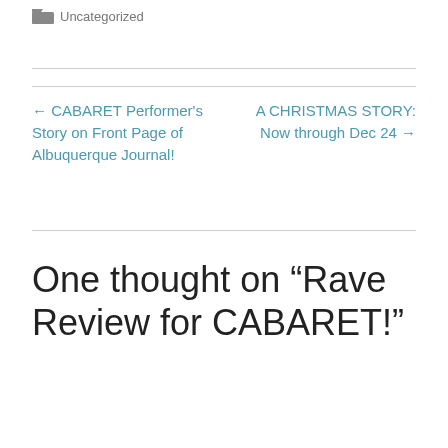Uncategorized
← CABARET Performer's Story on Front Page of Albuquerque Journal!
A CHRISTMAS STORY: Now through Dec 24 →
One thought on “Rave Review for CABARET!”